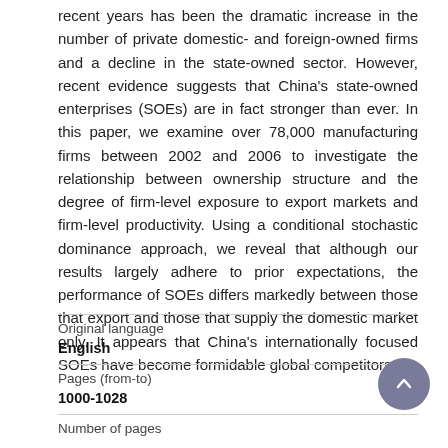recent years has been the dramatic increase in the number of private domestic- and foreign-owned firms and a decline in the state-owned sector. However, recent evidence suggests that China's state-owned enterprises (SOEs) are in fact stronger than ever. In this paper, we examine over 78,000 manufacturing firms between 2002 and 2006 to investigate the relationship between ownership structure and the degree of firm-level exposure to export markets and firm-level productivity. Using a conditional stochastic dominance approach, we reveal that although our results largely adhere to prior expectations, the performance of SOEs differs markedly between those that export and those that supply the domestic market only. It appears that China's internationally focused SOEs have become formidable global competitors.
| Field | Value |
| --- | --- |
| Original language | English |
| Pages (from-to) | 1000-1028 |
| Number of pages |  |